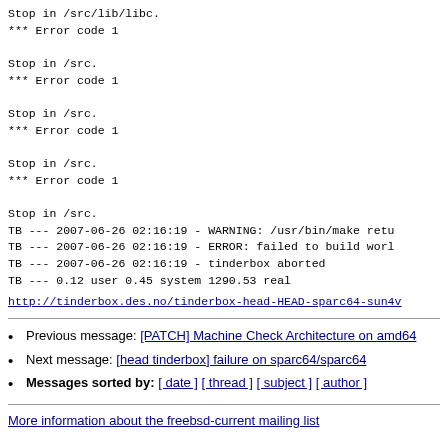Stop in /src/lib/libc.
*** Error code 1

Stop in /src.
*** Error code 1

Stop in /src.
*** Error code 1

Stop in /src.
*** Error code 1

Stop in /src.
TB --- 2007-06-26 02:16:19 - WARNING: /usr/bin/make retu
TB --- 2007-06-26 02:16:19 - ERROR: failed to build worl
TB --- 2007-06-26 02:16:19 - tinderbox aborted
TB --- 0.12 user 0.45 system 1290.53 real
http://tinderbox.des.no/tinderbox-head-HEAD-sparc64-sun4v
Previous message: [PATCH] Machine Check Architecture on amd64
Next message: [head tinderbox] failure on sparc64/sparc64
Messages sorted by: [ date ] [ thread ] [ subject ] [ author ]
More information about the freebsd-current mailing list